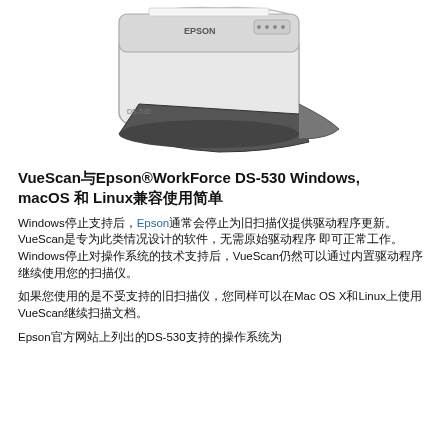[Figure (photo): Photo of Epson WorkForce DS-530 document scanner, white body with black document feeder tray, shown in 3/4 view from the front-right.]
VueScan与Epson®WorkForce DS-530 Windows, macOS 和 Linux兼容使用简单
Windows停止支持后，Epson通常会停止为旧扫描仪提供驱动程序更新。VueScan是专为此类情况设计的软件，无需原始驱动程序 即可正常工作。Windows停止对操作系统的技术支持后，VueScan仍然可以通过内置驱动程序继续使用您的扫描仪。
如果您使用的是不受支持的旧扫描仪，您同样可以在Mac OS X和Linux上使用VueScan继续扫描文档。
Epson官方网站上列出的DS-530支持的操作系统为